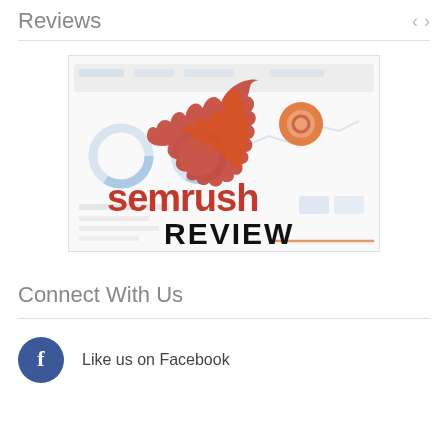Reviews
[Figure (screenshot): SEMrush Review promotional image showing the SEMrush logo with a flaming comet icon and the word REVIEW in bold black text, overlaid on a faded SEMrush dashboard screenshot]
Connect With Us
Like us on Facebook